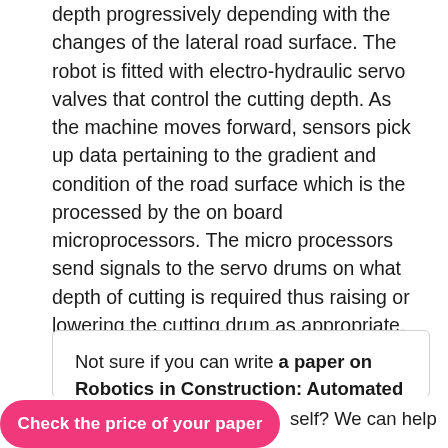depth progressively depending with the changes of the lateral road surface. The robot is fitted with electro-hydraulic servo valves that control the cutting depth. As the machine moves forward, sensors pick up data pertaining to the gradient and condition of the road surface which is the processed by the on board microprocessors. The micro processors send signals to the servo drums on what depth of cutting is required thus raising or lowering the cutting drum as appropriate. The robot requires proper input of the road datum points so as to be able to compare the data collected by the sensors and the actual road surface required (IAARC 39).
Not sure if you can write a paper on Robotics in Construction: Automated and Semi- ... self? We can help